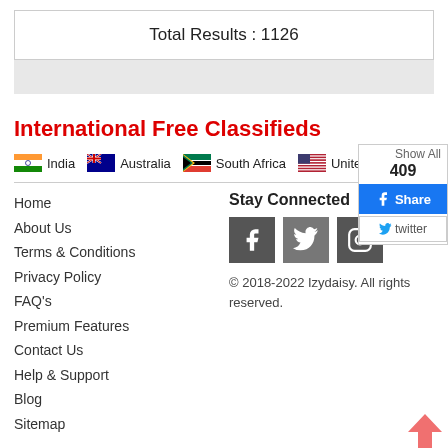Total Results : 1126
International Free Classifieds
India  Australia  South Africa  United States  Show All 409
[Figure (screenshot): Facebook Share button (blue) and Twitter button]
Home
About Us
Terms & Conditions
Privacy Policy
FAQ's
Premium Features
Contact Us
Help & Support
Blog
Sitemap
Stay Connected
[Figure (illustration): Social media icons: Facebook, Twitter, Instagram]
© 2018-2022 Izydaisy. All rights reserved.